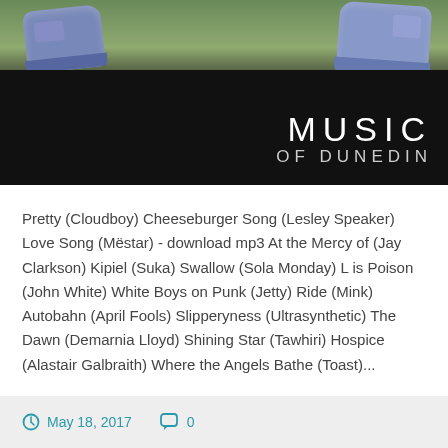[Figure (photo): Dark banner image with sneakers/shoes at top and 'MUSIC OF DUNEDIN' text overlay on black background]
Pretty (Cloudboy) Cheeseburger Song (Lesley Speaker) Love Song (Mëstar) - download mp3 At the Mercy of (Jay Clarkson) Kipiel (Suka) Swallow (Sola Monday) L is Poison (John White) White Boys on Punk (Jetty) Ride (Mink) Autobahn (April Fools) Slipperyness (Ultrasynthetic) The Dawn (Demarnia Lloyd) Shining Star (Tawhiri) Hospice (Alastair Galbraith) Where the Angels Bathe (Toast)...
Continue Reading →
May 18, 2017   0